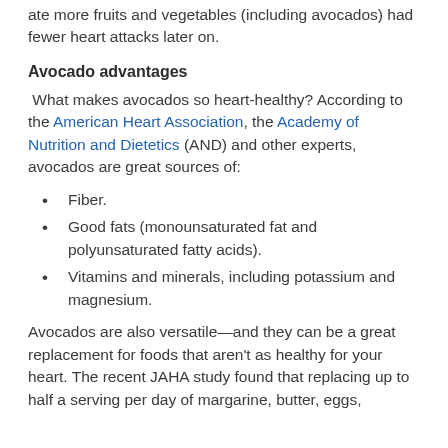ate more fruits and vegetables (including avocados) had fewer heart attacks later on.
Avocado advantages
What makes avocados so heart-healthy? According to the American Heart Association, the Academy of Nutrition and Dietetics (AND) and other experts, avocados are great sources of:
Fiber.
Good fats (monounsaturated fat and polyunsaturated fatty acids).
Vitamins and minerals, including potassium and magnesium.
Avocados are also versatile—and they can be a great replacement for foods that aren't as healthy for your heart. The recent JAHA study found that replacing up to half a serving per day of margarine, butter, eggs,